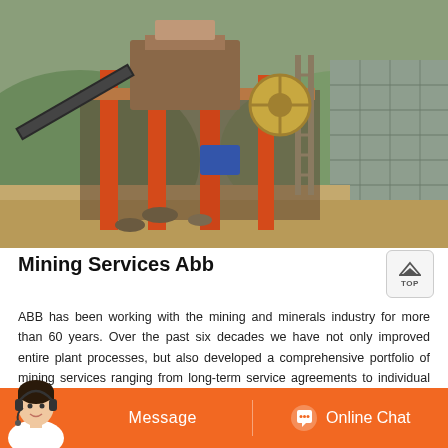[Figure (photo): Mining/quarrying equipment — large orange industrial crusher/screening machine on scaffolding with conveyor belt, set in a hillside quarry environment with stone retaining walls and lush green vegetation in the background.]
Mining Services Abb
ABB has been working with the mining and minerals industry for more than 60 years. Over the past six decades we have not only improved entire plant processes, but also developed a comprehensive portfolio of mining services ranging from long-term service agreements to individual service products like spare parts, training, engineering and consulting.
[Figure (illustration): Orange bottom bar with a customer service avatar (woman with headset) on the left, a 'Message' button in the center-left, and an 'Online Chat' button with a chat bubble icon on the right.]